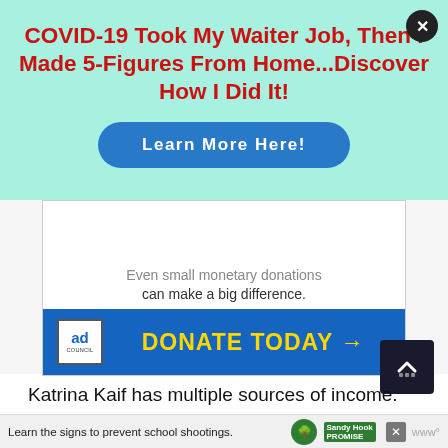[Figure (screenshot): Top advertisement banner with mint green background: bold red title 'COVID-19 Took My Waiter Job, Then I Made 5-Figures From Home...Discover How I Did It!' with a blue pill-shaped button 'Learn More Here!' and a black X close button in top-right corner.]
[Figure (screenshot): Ad Council 'DONATE TODAY →' advertisement banner in a white bordered box. Top half shows partially visible text 'Even small monetary donations can make a big difference.' Bottom half is a blue bar with the Ad Council logo on the left and 'DONATE TODAY →' in large yellow bold text.]
Katrina Kaif has multiple sources of income. She earns a huge amount of money from brand
[Figure (screenshot): Bottom advertisement bar with Sandy Hook Promise logo, text 'Learn the signs to prevent school shootings.' and a close X button.]